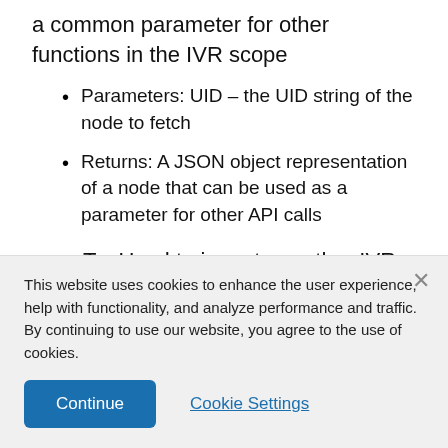a common parameter for other functions in the IVR scope
Parameters: UID – the UID string of the node to fetch
Returns: A JSON object representation of a node that can be used as a parameter for other API calls
goTo: Used to jump to another IVR node within the current visual IVR
This website uses cookies to enhance the user experience, help with functionality, and analyze performance and traffic. By continuing to use our website, you agree to the use of cookies.